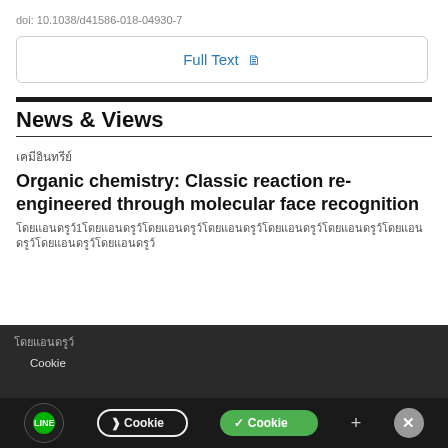doi: 10.1038/d41586-018-04930-7
Full Text
News & Views
เคมีอินทรีย์
Organic chemistry: Classic reaction re-engineered through molecular face recognition
โดย แอนดรูว์ 1 ...
คุณใช้ Cookie ...